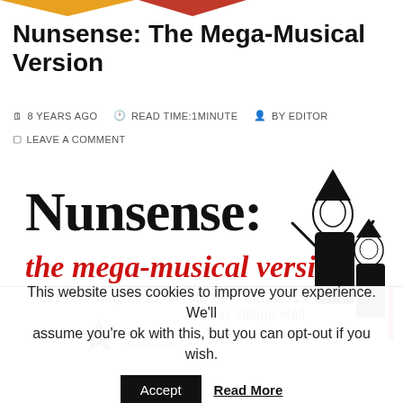Nunsense: The Mega-Musical Version
8 YEARS AGO   READ TIME: 1 MINUTE   BY EDITOR
LEAVE A COMMENT
[Figure (illustration): Promotional poster for 'Nunsense: The Mega-Musical Version' showing the show title in decorative black lettering with subtitle in red italic, dates '6th - 9th May 2015', venue 'Linton Village Hall', Wetherby Musical Theatre Group logo with star, and cartoon illustration of nuns on the right side.]
This website uses cookies to improve your experience. We'll assume you're ok with this, but you can opt-out if you wish.
Accept   Read More